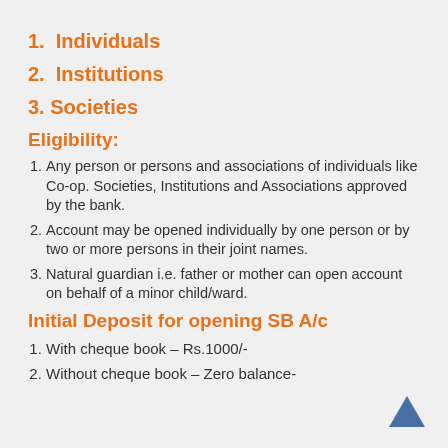1.  Individuals
2.  Institutions
3. Societies
Eligibility:
1. Any person or persons and associations of individuals like Co-op. Societies, Institutions and Associations approved by the bank.
2. Account may be opened individually by one person or by two or more persons in their joint names.
3. Natural guardian i.e. father or mother can open account on behalf of a minor child/ward.
Initial Deposit for opening SB A/c
1. With cheque book – Rs.1000/-
2. Without cheque book – Zero balance-